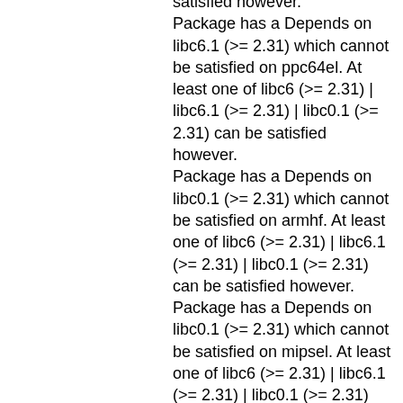satisfied however. Package has a Depends on libc6.1 (>= 2.31) which cannot be satisfied on ppc64el. At least one of libc6 (>= 2.31) | libc6.1 (>= 2.31) | libc0.1 (>= 2.31) can be satisfied however. Package has a Depends on libc0.1 (>= 2.31) which cannot be satisfied on armhf. At least one of libc6 (>= 2.31) | libc6.1 (>= 2.31) | libc0.1 (>= 2.31) can be satisfied however. Package has a Depends on libc0.1 (>= 2.31) which cannot be satisfied on mipsel. At least one of libc6 (>= 2.31) | libc6.1 (>= 2.31) | libc0.1 (>= 2.31) can be satisfied however. Package has a Depends on libc0.1 (>= 2.31) which cannot be satisfied on mips64el. At least one of libc6 (>= 2.31) | libc6.1 (>= 2.31) | libc0.1 (>= 2.31) can